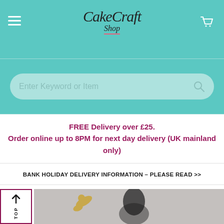CakeCraft Shop
[Figure (screenshot): Search bar with placeholder text 'Enter Keyword or Item' and a search icon, on teal background]
FREE Delivery over £25. Order online up to 8PM for next day delivery (UK mainland only)
BANK HOLIDAY DELIVERY INFORMATION – PLEASE READ >>
[Figure (photo): Product photo showing a figurine with a gold hand/arm pose and dark hair, partially visible at bottom of page]